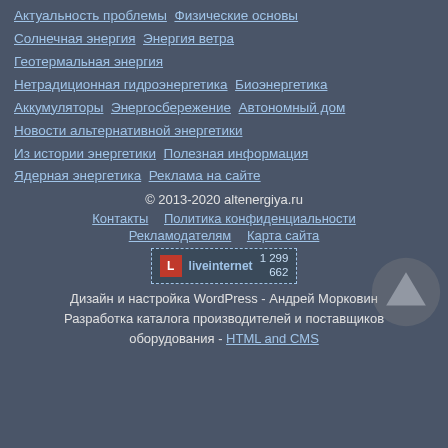Актуальность проблемы   Физические основы
Солнечная энергия   Энергия ветра
Геотермальная энергия
Нетрадиционная гидроэнергетика   Биоэнергетика
Аккумуляторы   Энергосбережение   Автономный дом
Новости альтернативной энергетики
Из истории энергетики   Полезная информация
Ядерная энергетика   Реклама на сайте
© 2013-2020 altenergiya.ru
Контакты   Политика конфиденциальности   Рекламодателям   Карта сайта
[Figure (logo): LiveInternet badge showing stats 1 299 and 662]
Дизайн и настройка WordPress - Андрей Морковин
Разработка каталога производителей и поставщиков оборудования - HTML and CMS